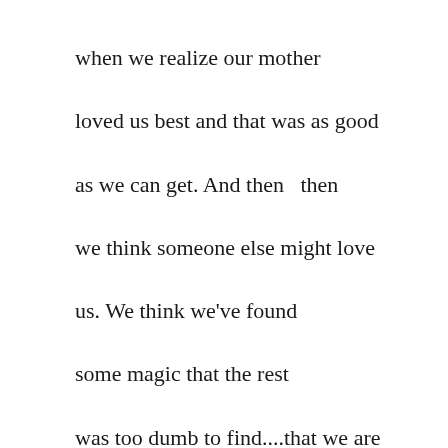when we realize our mother
loved us best and that was as good
as we can get. And then   then
we think someone else might love
us. We think we've found
some magic that the rest
was too dumb to find....that we are
lucky and blessed. Then   then we come